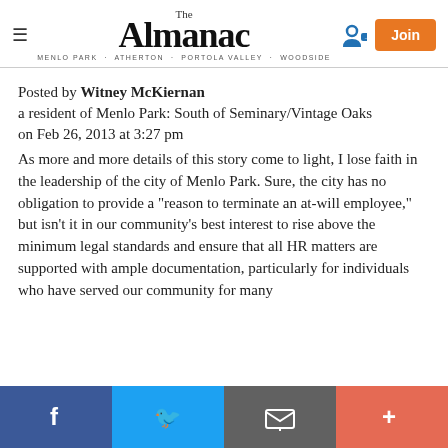The Almanac — Menlo Park · Atherton · Portola Valley · Woodside
Posted by Witney McKiernan
a resident of Menlo Park: South of Seminary/Vintage Oaks
on Feb 26, 2013 at 3:27 pm
As more and more details of this story come to light, I lose faith in the leadership of the city of Menlo Park. Sure, the city has no obligation to provide a "reason to terminate an at-will employee," but isn't it in our community's best interest to rise above the minimum legal standards and ensure that all HR matters are supported with ample documentation, particularly for individuals who have served our community for many